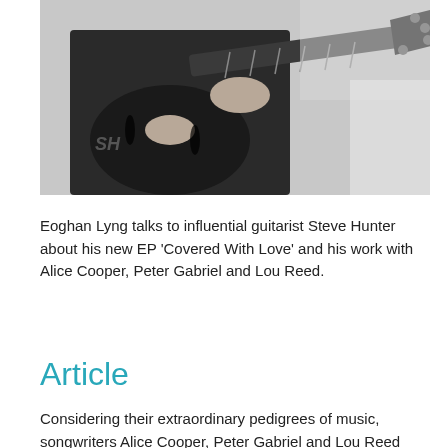[Figure (photo): Black and white photograph of a guitarist (Steve Hunter) playing an electric guitar, close-up shot showing hands on the guitar neck and body, wearing a dark jacket.]
Eoghan Lyng talks to influential guitarist Steve Hunter about his new EP 'Covered With Love' and his work with Alice Cooper, Peter Gabriel and Lou Reed.
Article
Considering their extraordinary pedigrees of music, songwriters Alice Cooper, Peter Gabriel and Lou Reed